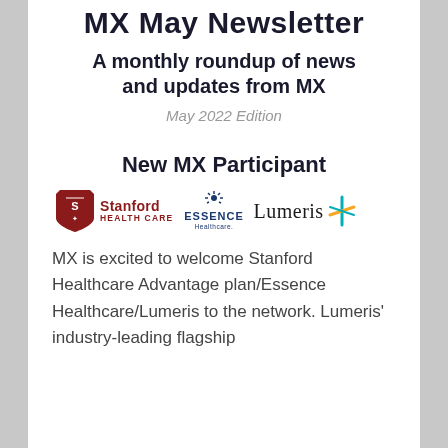MX May Newsletter
A monthly roundup of news and updates from MX
May 2022 Edition
New MX Participant
[Figure (logo): Three logos side by side: Stanford Health Care (red shield with SHC letters and medical symbol), Essence Healthcare (dark blue text with sun/rays icon), and Lumeris (text with teal/yellow star/asterisk icon)]
MX is excited to welcome Stanford Healthcare Advantage plan/Essence Healthcare/Lumeris to the network. Lumeris' industry-leading flagship